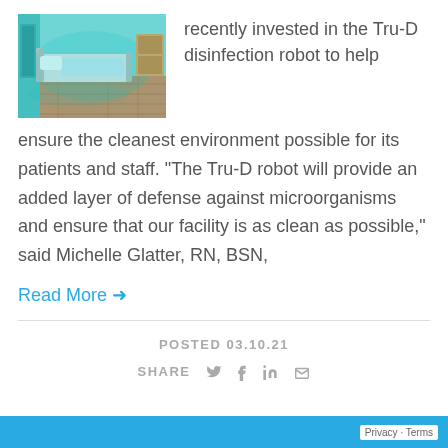[Figure (photo): Hospital room with a bed and teal/blue UV disinfection lighting, wooden floor, medical equipment]
recently invested in the Tru-D disinfection robot to help ensure the cleanest environment possible for its patients and staff. “The Tru-D robot will provide an added layer of defense against microorganisms and ensure that our facility is as clean as possible,” said Michelle Glatter, RN, BSN,
Read More →
POSTED 03.10.21
SHARE
Privacy · Terms